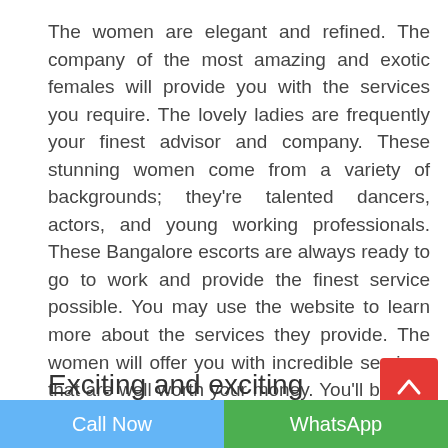The women are elegant and refined. The company of the most amazing and exotic females will provide you with the services you require. The lovely ladies are frequently your finest advisor and company. These stunning women come from a variety of backgrounds; they're talented dancers, actors, and young working professionals. These Bangalore escorts are always ready to go to work and provide the finest service possible. You may use the website to learn more about the services they provide. The women will offer you with incredible services that are well worth your money. You'll be with them for as long as you need them, whether it's only for the evening or for a whole day or two. You'll even bring them on vacation with you.
Exciting and exciting adventure
Call Now   WhatsApp